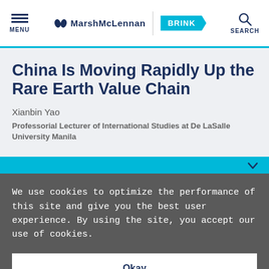MENU | MarshMcLennan BRINK | SEARCH
China Is Moving Rapidly Up the Rare Earth Value Chain
Xianbin Yao
Professorial Lecturer of International Studies at De LaSalle University Manila
We use cookies to optimize the performance of this site and give you the best user experience. By using the site, you accept our use of cookies.
Okay
Manage Cookies